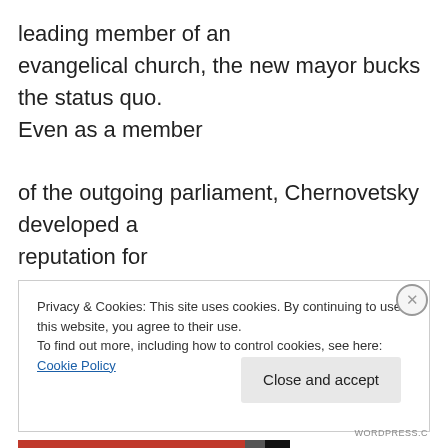leading member of an evangelical church, the new mayor bucks the status quo. Even as a member

of the outgoing parliament, Chernovetsky developed a reputation for eccentricity.

But like many of his fellow lawmakers, Chernovetsky is also a serious businessman, controlling a major Ukrainian bank.
Privacy & Cookies: This site uses cookies. By continuing to use this website, you agree to their use.
To find out more, including how to control cookies, see here: Cookie Policy
Close and accept